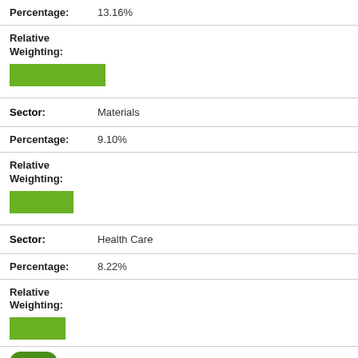Percentage: 13.16%
Relative Weighting:
[Figure (bar-chart): Green bar representing relative weighting, approximately 13.16%]
Sector: Materials
Percentage: 9.10%
Relative Weighting:
[Figure (bar-chart): Green bar representing relative weighting, approximately 9.10%]
Sector: Health Care
Percentage: 8.22%
Relative Weighting:
[Figure (bar-chart): Green bar representing relative weighting for Health Care]
Sector: Real Estate
Percentage: 6.70%